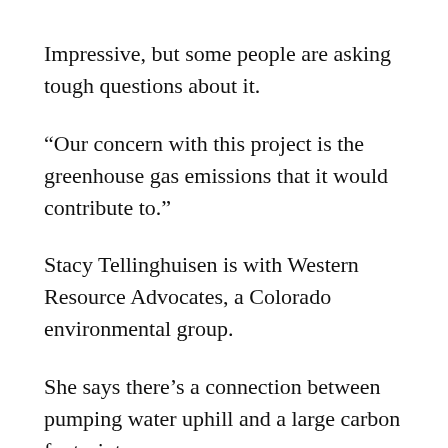Impressive, but some people are asking tough questions about it.
“Our concern with this project is the greenhouse gas emissions that it would contribute to.”
Stacy Tellinghuisen is with Western Resource Advocates, a Colorado environmental group.
She says there’s a connection between pumping water uphill and a large carbon footprint.